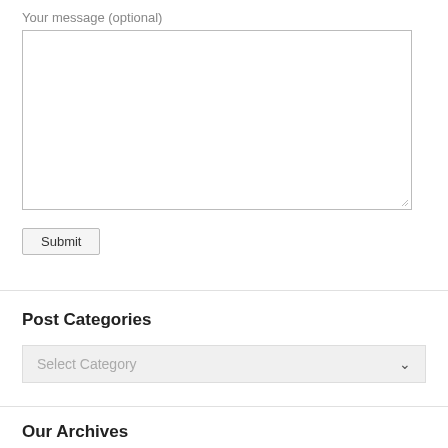Your message (optional)
[Figure (other): Empty textarea input box with resize handle in bottom-right corner]
Submit
Post Categories
[Figure (other): Dropdown select box showing 'Select Category' placeholder with chevron arrow]
Our Archives